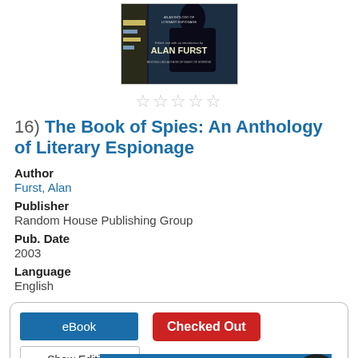[Figure (photo): Book cover for 'The Book of Spies: An Anthology of Literary Espionage' edited by Alan Furst]
★★★★★ (empty stars rating)
16) The Book of Spies: An Anthology of Literary Espionage
Author
Furst, Alan
Publisher
Random House Publishing Group
Pub. Date
2003
Language
English
eBook | Checked Out | Show Edition | Place Hold OverDrive | Preview From the book